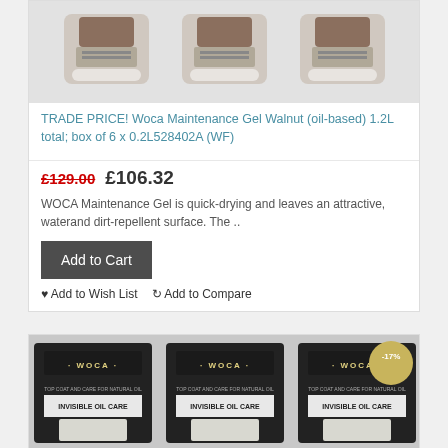[Figure (photo): Three bottles of Woca Maintenance Gel Walnut product shown side by side against grey background]
TRADE PRICE! Woca Maintenance Gel Walnut (oil-based) 1.2L total; box of 6 x 0.2L528402A (WF)
£129.00  £106.32
WOCA Maintenance Gel is quick-drying and leaves an attractive, waterand dirt-repellent surface. The ..
Add to Cart
Add to Wish List  Add to Compare
[Figure (photo): Three WOCA Invisible Oil Care cans shown side by side, the rightmost has a -17% discount badge]